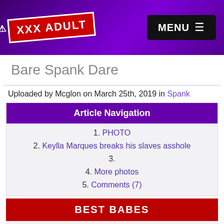XXX ADULT | MENU
Bare Spank Dare
Uploaded by Mcglon on March 25th, 2019 in Spank
Article Navigation
1. PHOTO
2. Keylla Marques breaks his slaves asshole
3.
4. More photos
5. Comments (7)
BEST BABES
1. Jolie
2. Orsola